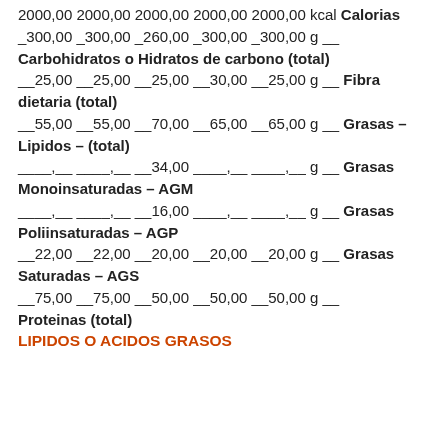2000,00 2000,00 2000,00 2000,00 2000,00 kcal Calorias
_300,00 _300,00 _260,00 _300,00 _300,00 g __ Carbohidratos o Hidratos de carbono (total)
__25,00 __25,00 __25,00 __30,00 __25,00 g __ Fibra dietaria (total)
__55,00 __55,00 __70,00 __65,00 __65,00 g __ Grasas – Lipidos – (total)
____,__ ____,__ __34,00 ____,__ ____,__ g __ Grasas Monoinsaturadas – AGM
____,__ ____,__ __16,00 ____,__ ____,__ g __ Grasas Poliinsaturadas – AGP
__22,00 __22,00 __20,00 __20,00 __20,00 g __ Grasas Saturadas – AGS
__75,00 __75,00 __50,00 __50,00 __50,00 g __ Proteinas (total)
LIPIDOS O ACIDOS GRASOS